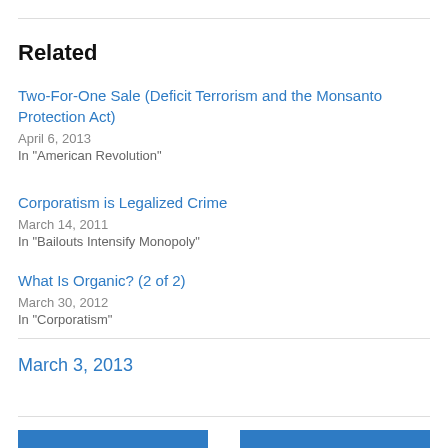Related
Two-For-One Sale (Deficit Terrorism and the Monsanto Protection Act)
April 6, 2013
In "American Revolution"
Corporatism is Legalized Crime
March 14, 2011
In "Bailouts Intensify Monopoly"
What Is Organic? (2 of 2)
March 30, 2012
In "Corporatism"
March 3, 2013